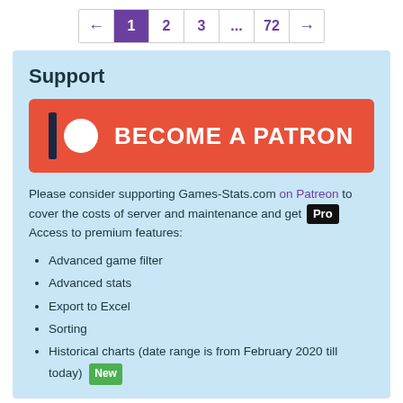← 1 2 3 ... 72 →
Support
[Figure (other): Patreon 'Become a Patron' button with dark bar, white circle icon and white bold text on orange-red background]
Please consider supporting Games-Stats.com on Patreon to cover the costs of server and maintenance and get Pro Access to premium features:
Advanced game filter
Advanced stats
Export to Excel
Sorting
Historical charts (date range is from February 2020 till today) New